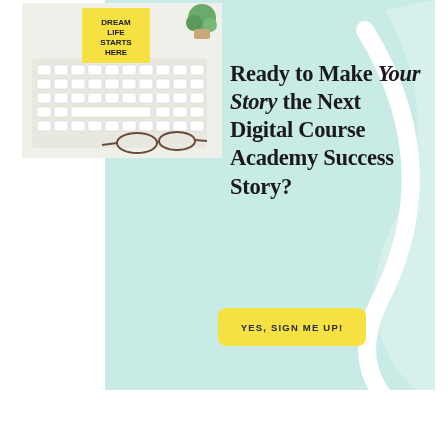[Figure (photo): Flat lay photo of a keyboard, yellow book titled 'DREAM LIFE STARTS HERE', glasses, and a small succulent plant on a white surface]
Ready to Make Your Story the Next Digital Course Academy Success Story?
YES, SIGN ME UP!